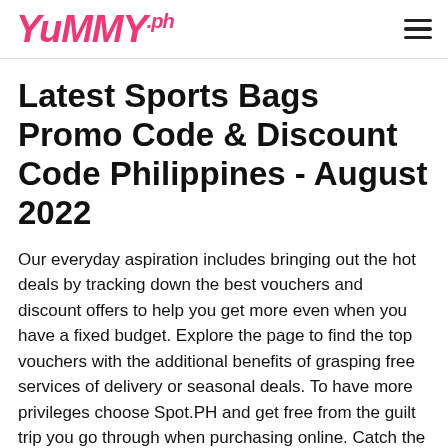YUMMY.ph
Latest Sports Bags Promo Code & Discount Code Philippines - August 2022
Our everyday aspiration includes bringing out the hot deals by tracking down the best vouchers and discount offers to help you get more even when you have a fixed budget. Explore the page to find the top vouchers with the additional benefits of grasping free services of delivery or seasonal deals. To have more privileges choose Spot.PH and get free from the guilt trip you go through when purchasing online. Catch the impression of our deals that are listed-below and grab the one that suits you more.